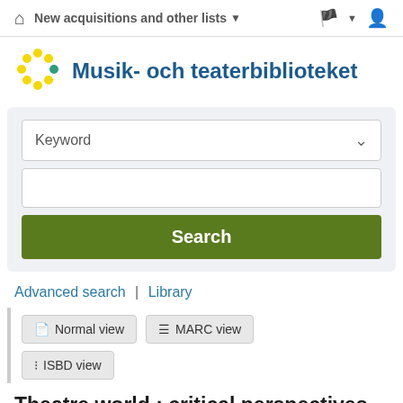New acquisitions and other lists ▾ 🏳 ▾ 👤
Musik- och teaterbiblioteket
[Figure (logo): Circular dot logo with yellow and teal/green dots arranged in a circle pattern]
Keyword (dropdown)
Search (button)
Advanced search | Library
Normal view | MARC view | ISBD view
Theatre world : critical perspectives on Greek tragedy and